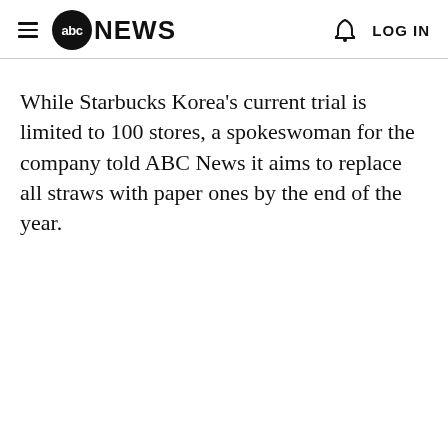abc NEWS  LOG IN
While Starbucks Korea's current trial is limited to 100 stores, a spokeswoman for the company told ABC News it aims to replace all straws with paper ones by the end of the year.